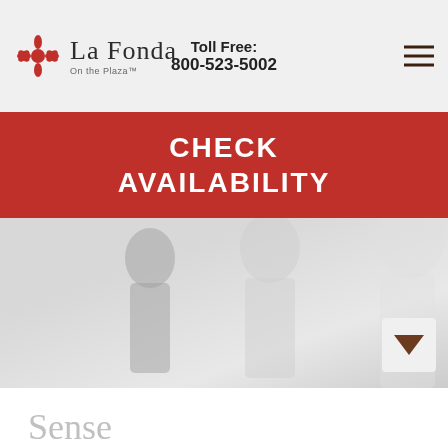La Fonda On the Plaza™ | Toll Free: 800-523-5002
CHECK AVAILABILITY
[Figure (photo): Faded/light photo showing clothing silhouettes or mannequins in white/grey tones, with a dropdown arrow button on the right side]
Sense
Sense Clothing® designed in the USA is headquartered in downtown Santa Fe, NM in the historic La Fonda Hotel on the Plaza. Sense launched their first collection in Spring 2005, consisting of ultra-soft fabrics and